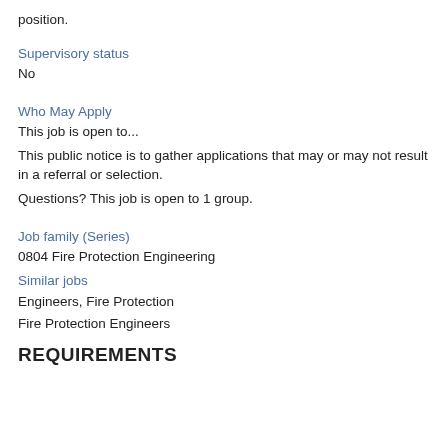position.
Supervisory status
No
Who May Apply
This job is open to...
This public notice is to gather applications that may or may not result in a referral or selection.
Questions? This job is open to 1 group.
Job family (Series)
0804 Fire Protection Engineering
Similar jobs
Engineers, Fire Protection
Fire Protection Engineers
REQUIREMENTS